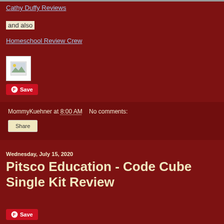Cathy Duffy Reviews
and also
Homeschool Review Crew
[Figure (illustration): Small broken image placeholder icon]
Save
MommyKuehner at 8:00 AM   No comments:
Share
Wednesday, July 15, 2020
Pitsco Education - Code Cube Single Kit Review
Save